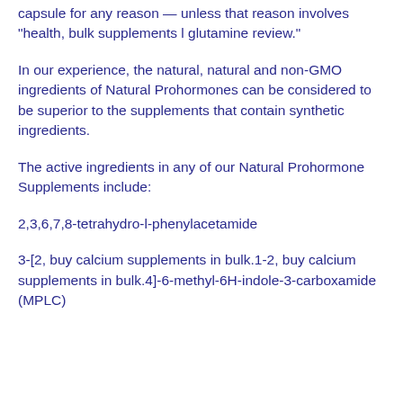capsule for any reason — unless that reason involves "health, bulk supplements l glutamine review."
In our experience, the natural, natural and non-GMO ingredients of Natural Prohormones can be considered to be superior to the supplements that contain synthetic ingredients.
The active ingredients in any of our Natural Prohormone Supplements include:
2,3,6,7,8-tetrahydro-l-phenylacetamide
3-[2, buy calcium supplements in bulk.1-2, buy calcium supplements in bulk.4]-6-methyl-6H-indole-3-carboxamide (MPLC)